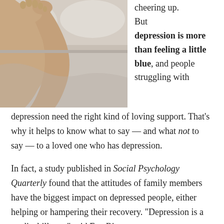[Figure (photo): Person lying on a couch or sofa, feet/legs visible, resting on cushions, light gray tones]
cheering up. But depression is more than feeling a little blue, and people struggling with depression need the right kind of loving support. That's why it helps to know what to say — and what not to say — to a loved one who has depression.
In fact, a study published in Social Psychology Quarterly found that the attitudes of family members have the biggest impact on depressed people, either helping or hampering their recovery. "Depression is a medical illness," said Eva Ritvo,